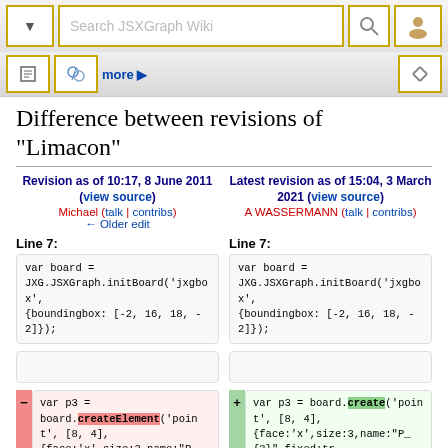Search JSXGraph Wiki
Difference between revisions of "Limacon"
Revision as of 10:17, 8 June 2011 (view source)
Michael (talk | contribs)
← Older edit
Latest revision as of 15:04, 3 March 2021 (view source)
A WASSERMANN (talk | contribs)
Line 7:
Line 7:
var board =
JXG.JSXGraph.initBoard('jxgbox',
{boundingbox: [-2, 16, 18, -2]});
var board =
JXG.JSXGraph.initBoard('jxgbox',
{boundingbox: [-2, 16, 18, -2]});
var p3 =
board.createElement('point', [8, 4],
{face:'x',size:3,name:"P_{3}",fixed:tr
var p3 = board.create('point', [8, 4],
{face:'x',size:3,name:"P_{3}",fixed:true});